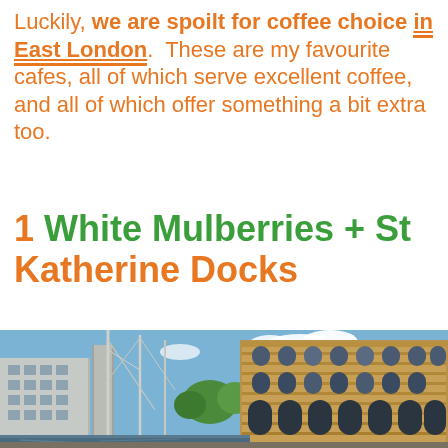Luckily, we are spoilt for coffee choice in East London. These are my favourite cafes, all of which serve excellent coffee, and all of which offer something a bit extra too.
1 White Mulberries + St Katherine Docks
[Figure (photo): Photograph of St Katherine Docks in East London showing sailboat masts in the foreground, a large Victorian brick warehouse building on the right with arched windows, modern buildings on the left, blue sky with white clouds, and green trees in the middle distance.]